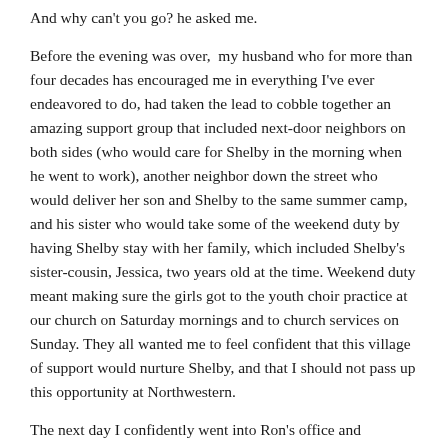And why can't you go? he asked me.
Before the evening was over,  my husband who for more than four decades has encouraged me in everything I've ever endeavored to do, had taken the lead to cobble together an amazing support group that included next-door neighbors on both sides (who would care for Shelby in the morning when he went to work), another neighbor down the street who would deliver her son and Shelby to the same summer camp, and his sister who would take some of the weekend duty by having Shelby stay with her family, which included Shelby's sister-cousin, Jessica, two years old at the time. Weekend duty meant making sure the girls got to the youth choir practice at our church on Saturday mornings and to church services on Sunday. They all wanted me to feel confident that this village of support would nurture Shelby, and that I should not pass up this opportunity at Northwestern.
The next day I confidently went into Ron's office and